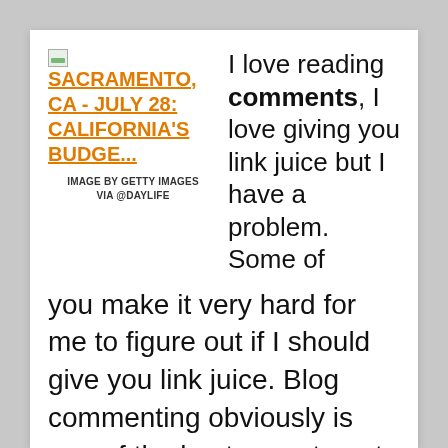[Figure (photo): Small image thumbnail placeholder with link text: SACRAMENTO, CA - JULY 28: CALIFORNIA'S BUDGE...]
IMAGE BY GETTY IMAGES VIA @DAYLIFE
I love reading comments, I love giving you link juice but I have a problem. Some of you make it very hard for me to figure out if I should give you link juice. Blog commenting obviously is one of the best ways to get exposure